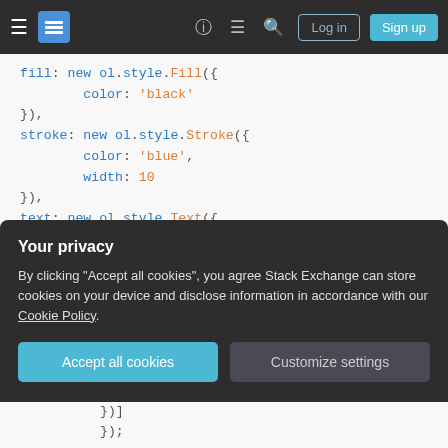Stack Exchange navigation bar with hamburger menu, logo, help, chat, search icons, Log in and Sign up buttons
[Figure (screenshot): Syntax-highlighted JavaScript code snippet showing ol.style.Fill, ol.style.Stroke, and ol.style.Text object configurations with properties: fill, stroke, text, color, width, font, placement]
Your privacy
By clicking "Accept all cookies", you agree Stack Exchange can store cookies on your device and disclose information in accordance with our Cookie Policy.
Accept all cookies  Customize settings